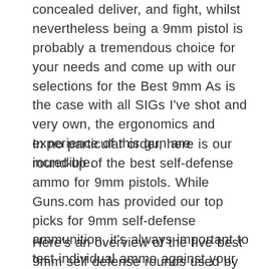concealed deliver, and fight, whilst nevertheless being a 9mm pistol is probably a tremendous choice for your needs and come up with our selections for the Best 9mm As is the case with all SIGs I've shot and very own, the ergonomics and experience of this gun are incredible.
In no particular order, here is our round-up of the best self-defense ammo for 9mm pistols. While Guns.com has provided our top picks for 9mm self-defense ammunition, it's always important to test individual ammo against your own specific carry or self-defense gun to ensure it offers reliable.
Here's an overview of the five best 9mm self defense rounds used by U.S. law enforcement, and what sets each apart. The Federal HST LE bullet is designed to expand to